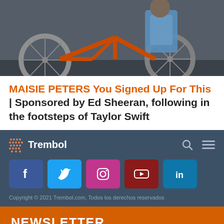[Figure (photo): Photo of a person with a bicycle, showing an orange bicycle frame and wheels against a gray background. A blue bag is visible.]
MAISIE PETERS You Signed Up For This | Sponsored by Ed Sheeran, following in the footsteps of Taylor Swift
[Figure (logo): Trembol logo with dot pattern graphic and text 'Trembol', plus search and menu icons]
[Figure (infographic): Social media icons row: Facebook (blue), Twitter (light blue), Instagram (pink), YouTube (dark red), LinkedIn (blue)]
Copyright © 2021 Trembol.com, Todos los derechos reservados
NEWSLETTER
Join us and get our Playlist with the best